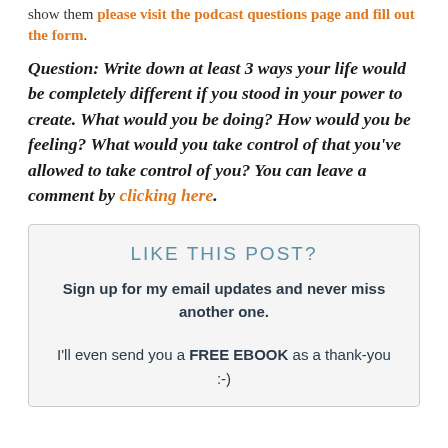show them please visit the podcast questions page and fill out the form.
Question: Write down at least 3 ways your life would be completely different if you stood in your power to create. What would you be doing? How would you be feeling? What would you take control of that you've allowed to take control of you? You can leave a comment by clicking here.
LIKE THIS POST?
Sign up for my email updates and never miss another one.
I'll even send you a FREE EBOOK as a thank-you :-)